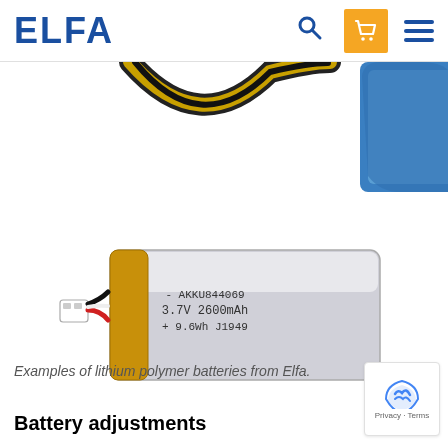ELFA
[Figure (photo): Partial view of a lithium polymer battery from above showing wires and blue casing]
[Figure (photo): Lithium polymer battery pack labeled AKKU844069, 3.7V 2600mAh, 9.6Wh J1949, with red/black wires and white connector]
Examples of lithium polymer batteries from Elfa.
Battery adjustments